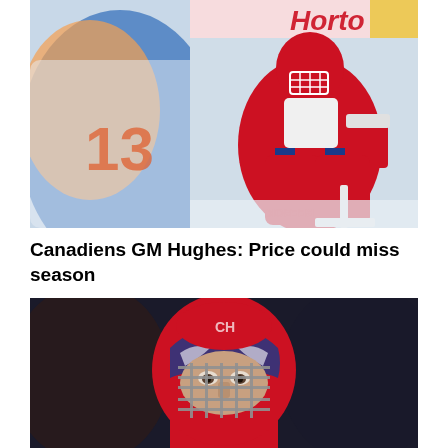[Figure (photo): Montreal Canadiens goalie in red gear in ready stance on ice, with a blurred New York Islanders player in foreground. Tim Hortons rink board visible in background.]
Canadiens GM Hughes: Price could miss season
[Figure (photo): Close-up of a Montreal Canadiens goalie wearing a red and blue decorated mask, looking forward with a focused expression.]